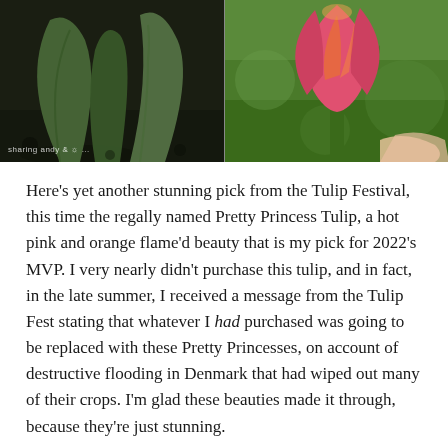[Figure (photo): Two photos side by side: left shows green tulip leaves/buds emerging from dark soil with a watermark; right shows a pink/orange flame tulip bloom close-up against green grass background.]
Here’s yet another stunning pick from the Tulip Festival, this time the regally named Pretty Princess Tulip, a hot pink and orange flame’d beauty that is my pick for 2022’s MVP. I very nearly didn’t purchase this tulip, and in fact, in the late summer, I received a message from the Tulip Fest stating that whatever I had purchased was going to be replaced with these Pretty Princesses, on account of destructive flooding in Denmark that had wiped out many of their crops. I’m glad these beauties made it through, because they’re just stunning.
Showgirl Tulip
[Figure (photo): Two photos side by side at bottom: left shows green leafy garden scene; right shows a pink tulip bloom with garden background.]